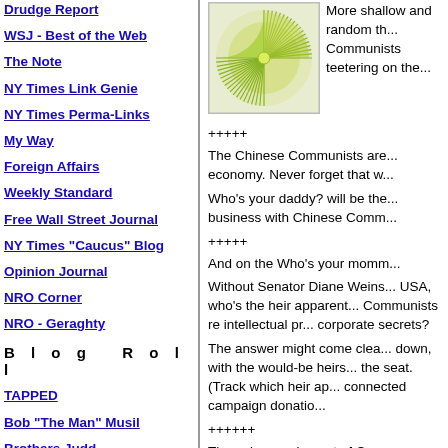Drudge Report
WSJ - Best of the Web
The Note
NY Times Link Genie
NY Times Perma-Links
My Way
Foreign Affairs
Weekly Standard
Free Wall Street Journal
NY Times "Caucus" Blog
Opinion Journal
NRO Corner
NRO - Geraghty
Blog Roll
TAPPED
Bob "The Man" Musil
Brothers Judd
Luskin Conspiracy
[Figure (logo): Green starburst/sunflower logo on white background]
More shallow and random th... Communists teetering on the...
+++++
The Chinese Communists are... economy. Never forget that w...
Who's your daddy? will be the... business with Chinese Comm...
+++++
And on the Who's your momm...
Without Senator Diane Weins... USA, who's the heir apparent... Communists re intellectual pr... corporate secrets?
The answer might come clea... down, with the would-be heirs... the seat. (Track which heir ap... connected campaign donatio...
++++++
The noise coming out of Co...